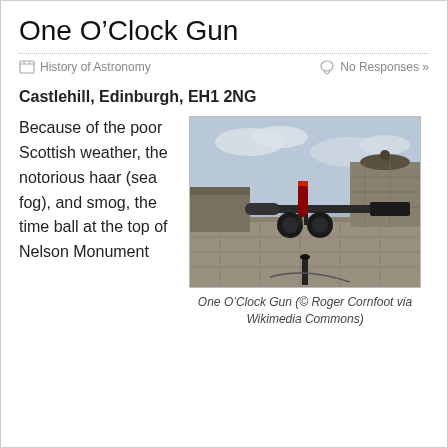One O’Clock Gun
History of Astronomy
No Responses »
Castlehill, Edinburgh, EH1 2NG
[Figure (photo): A cannon (the One O’Clock Gun) at Edinburgh Castle, with a soldier in military uniform standing beside it. Stone battlements and a turret are visible in the background under a cloudy sky.]
One O’Clock Gun (© Roger Cornfoot via Wikimedia Commons)
Because of the poor Scottish weather, the notorious haar (sea fog), and smog, the time ball at the top of Nelson Monument